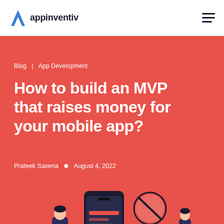appinventiv
Blog | App Development
How to build an MVP that raises money for your mobile app?
Prateek Saxena • August 4, 2022
[Figure (illustration): Illustration of a person using a mobile phone with UI elements and design motifs on a red background]